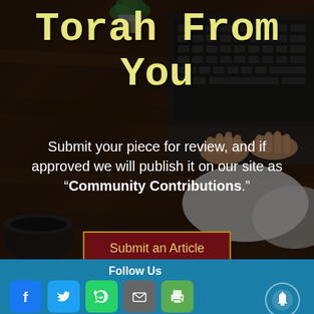Torah From You
Submit your piece for review, and if approved we will publish it on our site as “Community Contributions.”
Submit an Article
Follow Us